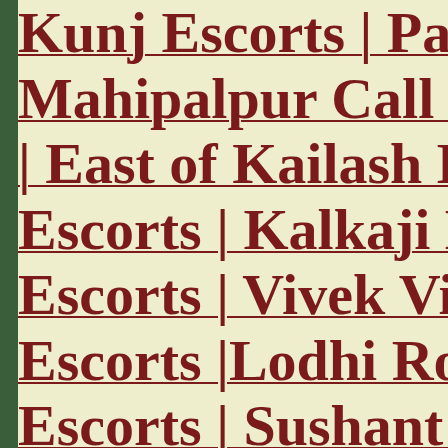Kunj Escorts | Paha | Mahipalpur Call G | East of Kailash Es Escorts | Kalkaji Es Escorts | Vivek Viha Escorts |Lodhi Roa Escorts | Sushant La Noida Escorts | Lax